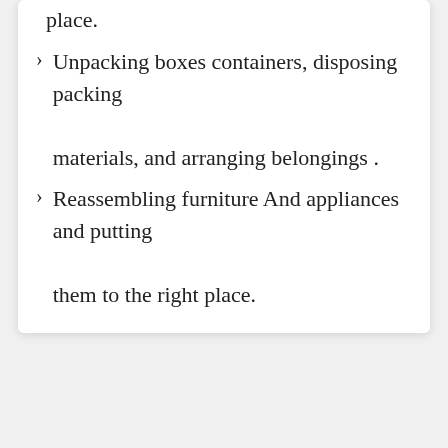place.
Unpacking boxes containers, disposing packing materials, and arranging belongings .
Reassembling furniture And appliances and putting them to the right place.
Our on line directory is committed to making it relax... s of services happen with ease. We offer selecti... separation services that will assist people to transfer w... keeping their valuables safe. Here are a few of those ...nies that these enlisted businesses offer.
Reliable Domestic Delivery